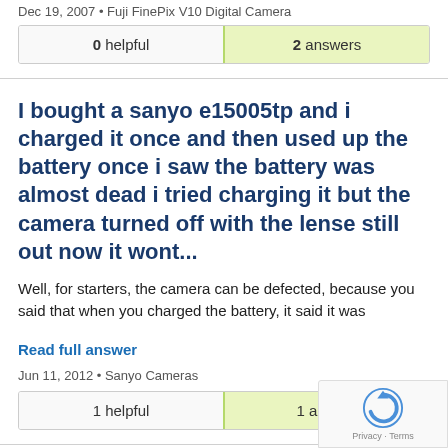Dec 19, 2007 • Fuji FinePix V10 Digital Camera
| 0 helpful | 2 answers |
| --- | --- |
I bought a sanyo e15005tp and i charged it once and then used up the battery once i saw the battery was almost dead i tried charging it but the camera turned off with the lense still out now it wont...
Well, for starters, the camera can be defected, because you said that when you charged the battery, it said it was
Read full answer
Jun 11, 2012 • Sanyo Cameras
| 1 helpful | 1 answer |
| --- | --- |
Hi I have a sony cybershot camera that i